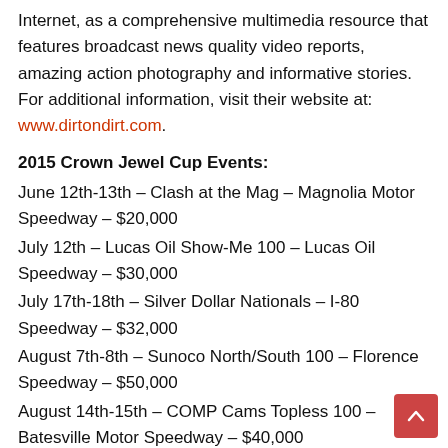Internet, as a comprehensive multimedia resource that features broadcast news quality video reports, amazing action photography and informative stories. For additional information, visit their website at: www.dirtondirt.com.
2015 Crown Jewel Cup Events:
June 12th-13th – Clash at the Mag – Magnolia Motor Speedway – $20,000
July 12th – Lucas Oil Show-Me 100 – Lucas Oil Speedway – $30,000
July 17th-18th – Silver Dollar Nationals – I-80 Speedway – $32,000
August 7th-8th – Sunoco North/South 100 – Florence Speedway – $50,000
August 14th-15th – COMP Cams Topless 100 – Batesville Motor Speedway – $40,000
August 28th-29th – Pittsburgher 100 – Pittsburgh's PA Motor